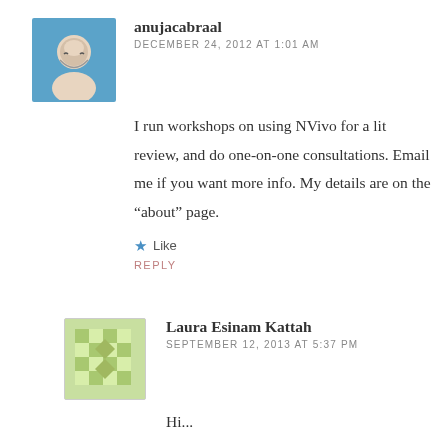[Figure (photo): Circular avatar image of anujacabraal with blue border]
anujacabraal
DECEMBER 24, 2012 AT 1:01 AM
I run workshops on using NVivo for a lit review, and do one-on-one consultations. Email me if you want more info. My details are on the “about” page.
★ Like
REPLY
[Figure (illustration): Green geometric tile pattern avatar for Laura Esinam Kattah]
Laura Esinam Kattah
SEPTEMBER 12, 2013 AT 5:37 PM
Hi...